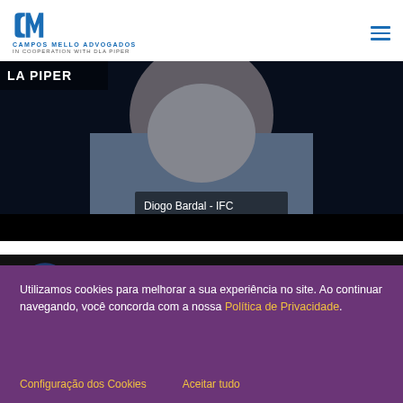[Figure (logo): Campos Mello Advogados / CM logo with text 'CAMPOS MELLO ADVOGADOS IN COOPERATION WITH DLA PIPER']
[Figure (screenshot): Video screenshot showing a person (Diogo Bardal - IFC) with 'LA PIPER' watermark overlay on a dark video frame]
[Figure (screenshot): YouTube video thumbnail row showing CM logo and title 'Nova Lei de Licitações - Direito Públ...' with three-dot menu icon]
Utilizamos cookies para melhorar a sua experiência no site. Ao continuar navegando, você concorda com a nossa Política de Privacidade.
Configuração dos Cookies
Aceitar tudo